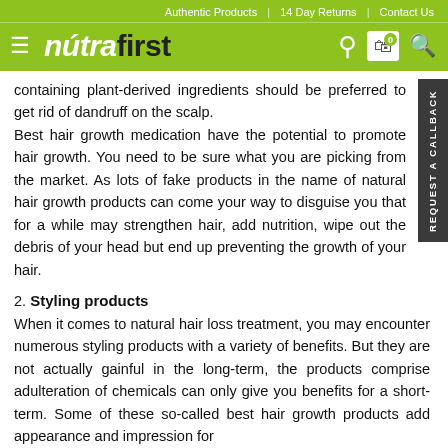Authentic Products | 14 Day Returns | Contact Us
[Figure (logo): NutraFirst logo with hamburger menu icon on green background, with user, cart, and search icons on right]
containing plant-derived ingredients should be preferred to get rid of dandruff on the scalp. Best hair growth medication have the potential to promote hair growth. You need to be sure what you are picking from the market. As lots of fake products in the name natural hair growth products can come your way to disguise you that for a while may strengthen hair, add nutrition, wipe out the debris of your head but end up preventing the growth of your hair.
2. Styling products
When it comes to natural hair loss treatment, you may encounter numerous styling products with a variety of benefits. But they are not actually gainful in the long-term, the products comprise adulteration of chemicals can only give you benefits for a short-term. Some of these so-called best hair growth products add appearance and impression for